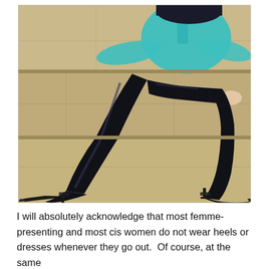[Figure (photo): A person wearing black shiny leggings and black high-heel pumps, seated on stone steps outdoors. The person is wearing a teal/turquoise button-up shirt and has dark hair. The background shows large tan stone blocks.]
I will absolutely acknowledge that most femme-presenting and most cis women do not wear heels or dresses whenever they go out.  Of course, at the same